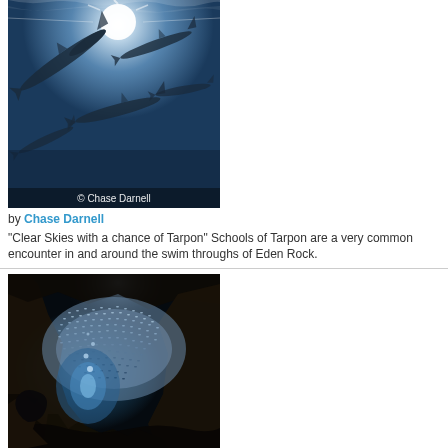[Figure (photo): Underwater photograph of tarpon fish swimming near the surface with sunlight streaming from above, shot from below looking up. Watermark reads '© Chase Darnell'.]
by Chase Darnell
"Clear Skies with a chance of Tarpon" Schools of Tarpon are a very common encounter in and around the swim throughs of Eden Rock.
[Figure (photo): Underwater cave or cavern photograph showing a large school of small fish (baitball) inside a dark cave with a blue light opening, rocks visible in foreground.]